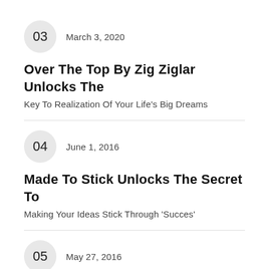03 March 3, 2020 — Over The Top By Zig Ziglar Unlocks The Key To Realization Of Your Life's Big Dreams
04 June 1, 2016 — Made To Stick Unlocks The Secret To Making Your Ideas Stick Through 'Succes'
05 May 27, 2016 — Crush It Shows How To Make Your Passion Your Work And Cash On It